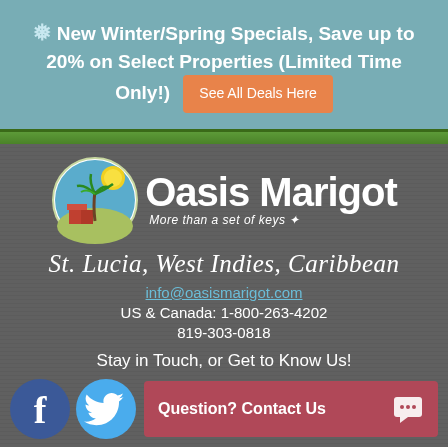❄ New Winter/Spring Specials, Save up to 20% on Select Properties (Limited Time Only!) See All Deals Here
[Figure (logo): Oasis Marigot logo with palm tree, sun, and red buildings in a circle. Text reads Oasis Marigot, More than a set of keys]
St. Lucia, West Indies, Caribbean
info@oasismarigot.com
US & Canada: 1-800-263-4202
819-303-0818
Stay in Touch, or Get to Know Us!
[Figure (illustration): Facebook and Twitter social media icons, and a red contact bar reading Question? Contact Us with chat icon]